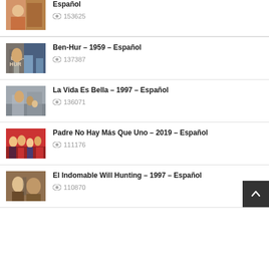Español · 153625
Ben-Hur – 1959 – Español · 137387
La Vida Es Bella – 1997 – Español · 136071
Padre No Hay Más Que Uno – 2019 – Español · 111176
El Indomable Will Hunting – 1997 – Español · 110870